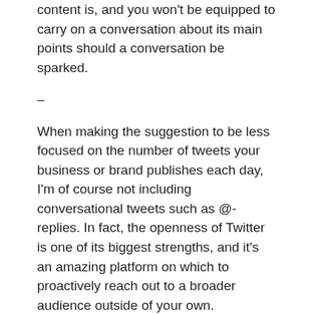content is, and you won't be equipped to carry on a conversation about its main points should a conversation be sparked.
–
When making the suggestion to be less focused on the number of tweets your business or brand publishes each day, I'm of course not including conversational tweets such as @-replies. In fact, the openness of Twitter is one of its biggest strengths, and it's an amazing platform on which to proactively reach out to a broader audience outside of your own.
What's your take on the quality and value of content being published by the majority of businesses and brands?
Have you adopted any 'best practices' for how many tweets to publish each day?